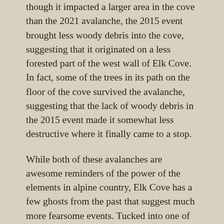though it impacted a larger area in the cove than the 2021 avalanche, the 2015 event brought less woody debris into the cove, suggesting that it originated on a less forested part of the west wall of Elk Cove. In fact, some of the trees in its path on the floor of the cove survived the avalanche, suggesting that the lack of woody debris in the 2015 event made it somewhat less destructive where it finally came to a stop.
While both of these avalanches are awesome reminders of the power of the elements in alpine country, Elk Cove has a few ghosts from the past that suggest much more fearsome events. Tucked into one of the mature, forested “tree islands” at Elk Cove is a ghost tree that give mute testimony to just how powerful an avalanche on Mount Hood can be. The stump of this ghost tree (below) is nearly four feet in diameter and was toppled